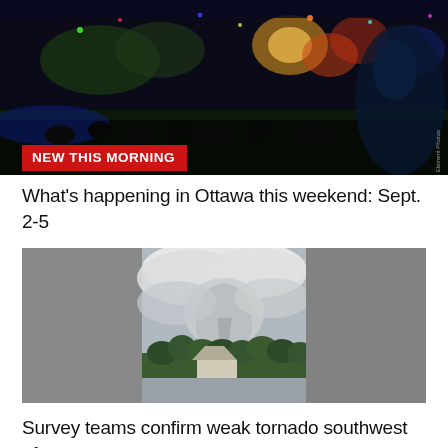[Figure (photo): Nighttime outdoor festival scene with colorful lights, hot air balloons illuminated in background, crowd of people in foreground, dark sky]
NEW THIS MORNING
What's happening in Ottawa this weekend: Sept. 2-5
[Figure (photo): Storm photo showing large rotating cloud formation or tornado near a house with trees, road in foreground; blurred gray sides indicating vertical video format. Watermark: COURTESY OF FACELOCRSTOWN REPORTS CANADA]
Survey teams confirm weak tornado southwest of